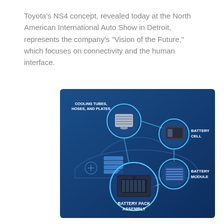Toyota's NS4 concept, revealed today at the North American International Auto Show in Detroit, represents the company's "Vision of the Future," which focuses on connectivity and the human interface.
[Figure (infographic): Infographic on a blue gradient background showing Toyota battery assembly components: Cooling Tubes, Hoses, and Plates (top left, circular callout with a metallic plate component), Battery Cell (right, circular callout with a dark rectangular battery cell), Battery Module (right, circular callout with a blue striped module), Battery Pack Assembly (bottom center, large circular callout with a dark battery pack), with a car silhouette outline and battery stack icon in the background.]